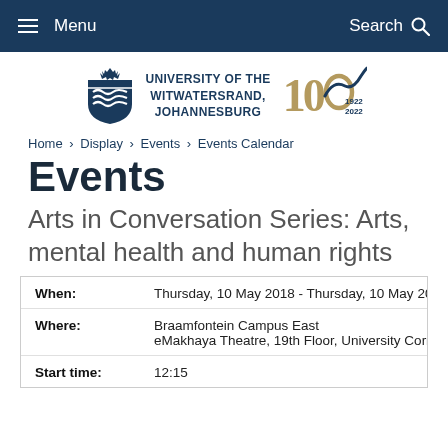Menu   Search
[Figure (logo): University of the Witwatersrand, Johannesburg logo with shield and 100 years centenary mark (1922-2022)]
Home > Display > Events > Events Calendar
Events
Arts in Conversation Series: Arts, mental health and human rights
| Field | Value |
| --- | --- |
| When: | Thursday, 10 May 2018 - Thursday, 10 May 201... |
| Where: | Braamfontein Campus East
eMakhaya Theatre, 19th Floor, University Corne... |
| Start time: | 12:15 |